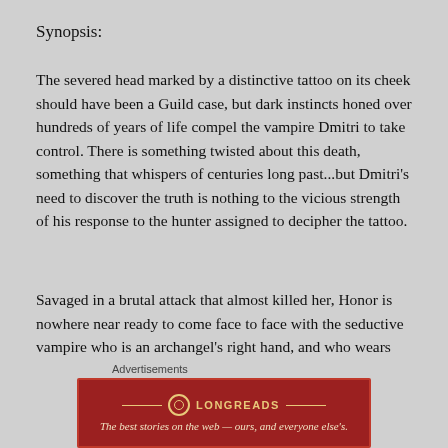Synopsis:
The severed head marked by a distinctive tattoo on its cheek should have been a Guild case, but dark instincts honed over hundreds of years of life compel the vampire Dmitri to take control. There is something twisted about this death, something that whispers of centuries long past...but Dmitri’s need to discover the truth is nothing to the vicious strength of his response to the hunter assigned to decipher the tattoo.
Savaged in a brutal attack that almost killed her, Honor is nowhere near ready to come face to face with the seductive vampire who is an archangel’s right hand, and who wears his cruelty as boldly as his lethal sensuality, the same
Advertisements
[Figure (other): Longreads advertisement banner: red background with Longreads logo and tagline 'The best stories on the web — ours, and everyone else's.']